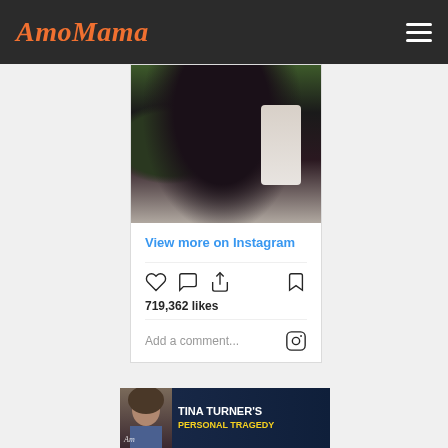AmoMama
[Figure (screenshot): Instagram post showing a woman with dark hair and gold necklaces in a white top, selfie style photo]
View more on Instagram
719,362 likes
Add a comment...
[Figure (photo): Advertisement banner: Tina Turner's Personal Tragedy with photo of Tina Turner]